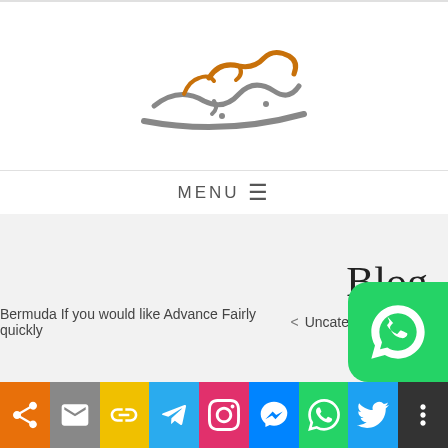[Figure (logo): Arabic script logo in gray and orange/brown colors]
MENU ≡
Blog
Bermuda If you would like Advance Fairly quickly < Uncategorized < 🏠
Which Sand Is employed Desig
[Figure (infographic): Social media share bar with icons: share, email, link, Telegram, Instagram, Messenger, WhatsApp, Twitter, more]